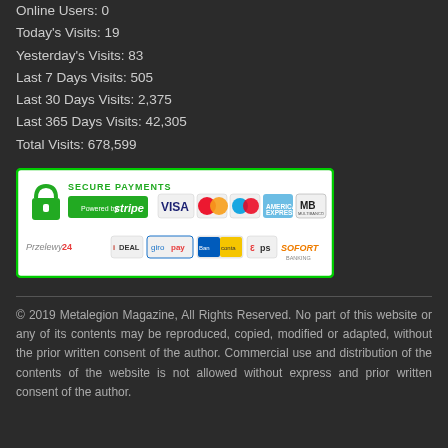Online Users: 0
Today's Visits: 19
Yesterday's Visits: 83
Last 7 Days Visits: 505
Last 30 Days Visits: 2,375
Last 365 Days Visits: 42,305
Total Visits: 678,599
[Figure (infographic): Secure Payments banner with Stripe logo, VISA, MasterCard, Maestro, American Express, MB, Przelewy24, iDEAL, giropay, Bancontact, eps, and SOFORT Banking payment method logos inside a green-bordered box.]
© 2019 Metalegion Magazine, All Rights Reserved. No part of this website or any of its contents may be reproduced, copied, modified or adapted, without the prior written consent of the author. Commercial use and distribution of the contents of the website is not allowed without express and prior written consent of the author.